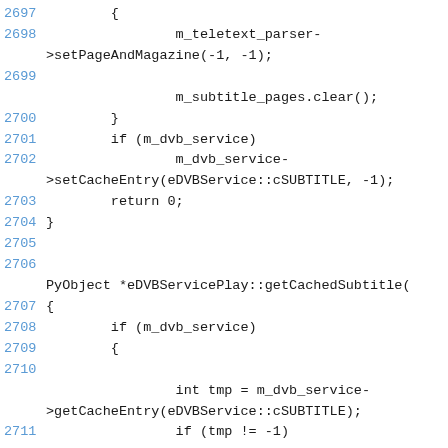Source code listing, lines 2697-2711, showing C++ code for eDVBServicePlay with teletext parser, subtitle pages, dvb service cache entries, return statement, and getCachedSubtitle function.